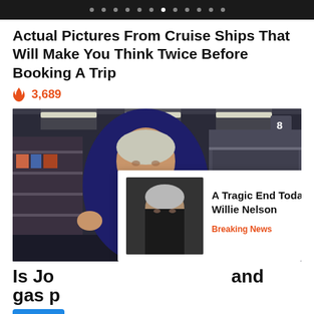navigation dots header bar
Actual Pictures From Cruise Ships That Will Make You Think Twice Before Booking A Trip
🔥 3,689
[Figure (photo): Photo of a person in a dark suit and red tie in a grocery store with empty shelves, with an overlay popup ad showing a man's face and text 'A Tragic End Today For Willie Nelson - Breaking News']
Is Jo... and gas p...
Yes